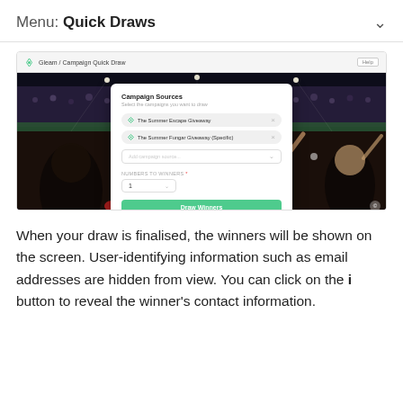Menu: Quick Draws
[Figure (screenshot): Screenshot of Gleam Campaign Quick Draw interface showing a browser window with a modal dialog over a stadium crowd background photo. The modal has 'Campaign Sources' title, two selected campaigns ('The Summer Escape Giveaway' and 'The Summer Fungar Giveaway (Specific)'), a dropdown, a 'Numbers to Winners' field set to 1, and a green 'Draw Winners' button.]
When your draw is finalised, the winners will be shown on the screen. User-identifying information such as email addresses are hidden from view. You can click on the i button to reveal the winner's contact information.